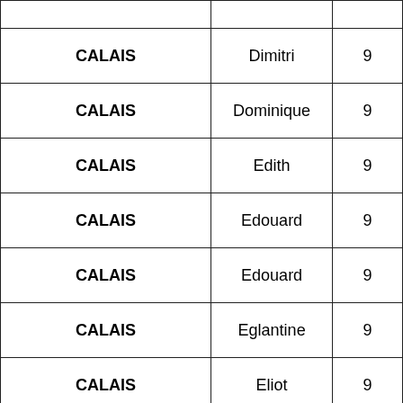| CALAIS | Dimitri | 9 |
| CALAIS | Dominique | 9 |
| CALAIS | Edith | 9 |
| CALAIS | Edouard | 9 |
| CALAIS | Edouard | 9 |
| CALAIS | Eglantine | 9 |
| CALAIS | Eliot | 9 |
| CALAIS | Elisabeth | 9 |